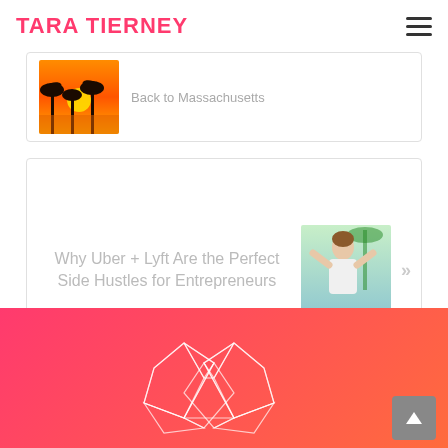TARA TIERNEY
Back to Massachusetts
Why Uber + Lyft Are the Perfect Side Hustles for Entrepreneurs
[Figure (other): Pink and orange footer banner with geometric heart outline made of triangular wireframe lines, on a pink-to-coral gradient background. A grey back-to-top button with an upward triangle arrow is in the bottom right.]